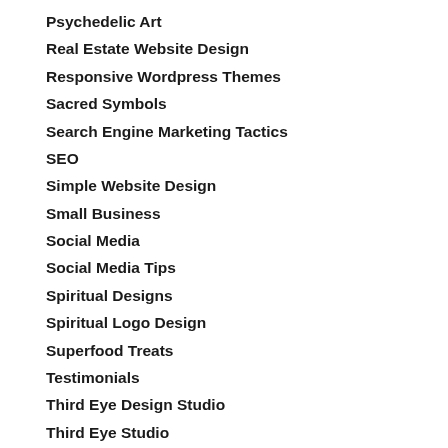Psychedelic Art
Real Estate Website Design
Responsive Wordpress Themes
Sacred Symbols
Search Engine Marketing Tactics
SEO
Simple Website Design
Small Business
Social Media
Social Media Tips
Spiritual Designs
Spiritual Logo Design
Superfood Treats
Testimonials
Third Eye Design Studio
Third Eye Studio